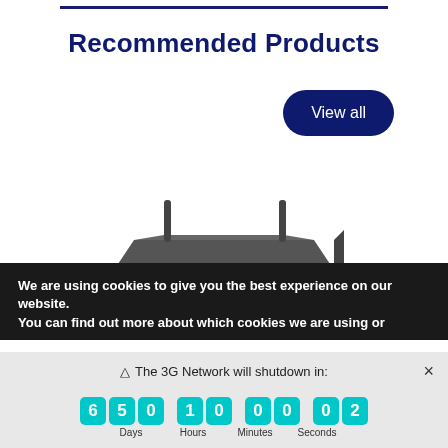Recommended Products
View all
[Figure (photo): Dark grey/black network router or set-top box device viewed from slightly above]
We are using cookies to give you the best experience on our website.
You can find out more about which cookies we are using or
⚠ The 3G Network will shutdown in:
6 5 0  1 0  0 0  0 2 — Days, Hours, Minutes, Seconds